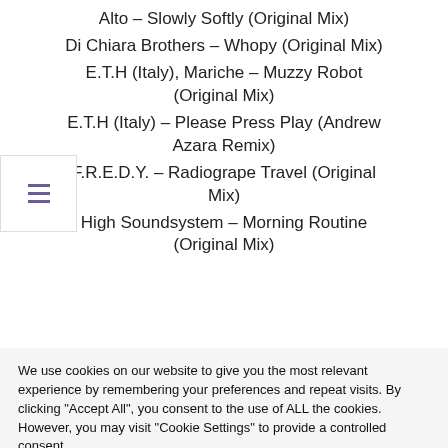Alto – Slowly Softly (Original Mix)
Di Chiara Brothers – Whopy (Original Mix)
E.T.H (Italy), Mariche – Muzzy Robot (Original Mix)
E.T.H (Italy) – Please Press Play (Andrew Azara Remix)
F.R.E.D.Y. – Radiogrape Travel (Original Mix)
High Soundsystem – Morning Routine (Original Mix)
We use cookies on our website to give you the most relevant experience by remembering your preferences and repeat visits. By clicking "Accept All", you consent to the use of ALL the cookies. However, you may visit "Cookie Settings" to provide a controlled consent.